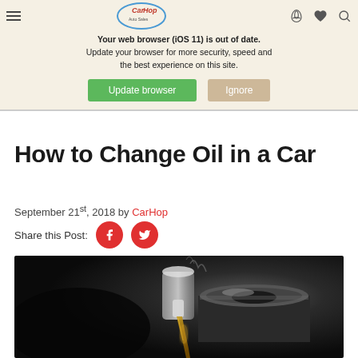Your web browser (iOS 11) is out of date. Update your browser for more security, speed and the best experience on this site.
How to Change Oil in a Car
September 21st, 2018 by CarHop
Share this Post:
[Figure (photo): Close-up photo of motor oil being poured from a bottle into a car engine fill port, dark background with golden oil visible]